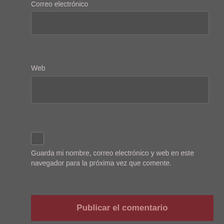Correo electrónico
[Figure (other): Email text input field]
Web
[Figure (other): Web URL text input field]
[Figure (other): Checkbox (unchecked)]
Guarda mi nombre, correo electrónico y web en este navegador para la próxima vez que comente.
Publicar el comentario
↑ Volver arriba
Móvil
Escritorio